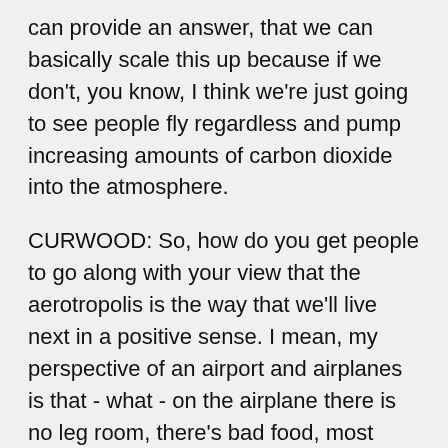can provide an answer, that we can basically scale this up because if we don't, you know, I think we're just going to see people fly regardless and pump increasing amounts of carbon dioxide into the atmosphere.
CURWOOD: So, how do you get people to go along with your view that the aerotropolis is the way that we'll live next in a positive sense. I mean, my perspective of an airport and airplanes is that - what - on the airplane there is no leg room, there's bad food, most people give out a groan when they think about going to the airport and dealing with the airport.
LINDSAY: Well I think the comedian Louis C.K. put it best when he did his classic sketch - you know - everything is amazing and nobody is happy. You know, you're in a chair in the sky traveling at 600mph at 35,000 feet, I mean, you know, you can cross the country in six hours…